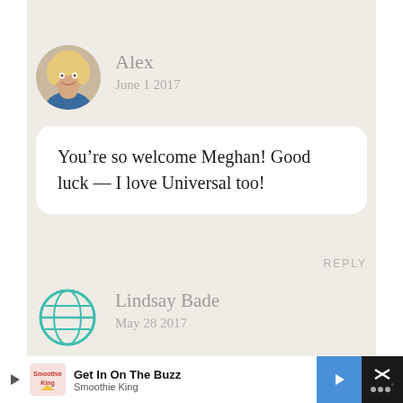[Figure (photo): Circular avatar photo of a blonde woman smiling]
Alex
June 1 2017
You’re so welcome Meghan! Good luck — I love Universal too!
REPLY
[Figure (illustration): Teal globe/world icon]
Lindsay Bade
May 28 2017
What an amazing giveaway! Thanks for the chance! It’s been over 10 years since I have been
Get In On The Buzz
Smoothie King